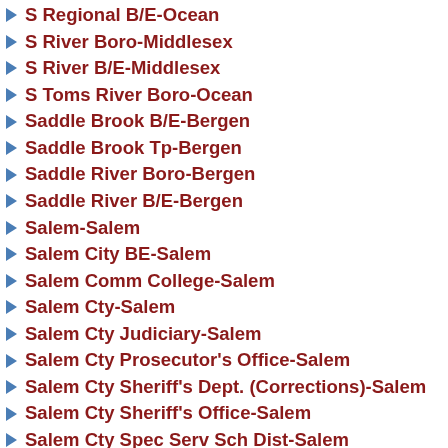S Regional B/E-Ocean
S River Boro-Middlesex
S River B/E-Middlesex
S Toms River Boro-Ocean
Saddle Brook B/E-Bergen
Saddle Brook Tp-Bergen
Saddle River Boro-Bergen
Saddle River B/E-Bergen
Salem-Salem
Salem City BE-Salem
Salem Comm College-Salem
Salem Cty-Salem
Salem Cty Judiciary-Salem
Salem Cty Prosecutor's Office-Salem
Salem Cty Sheriff's Dept. (Corrections)-Salem
Salem Cty Sheriff's Office-Salem
Salem Cty Spec Serv Sch Dist-Salem
Salem Cty V/T B/E-Salem
Sandyston-Walpack B/E-Sussex
Sayreville BE-Middlesex
Sayreville Boro-Middlesex